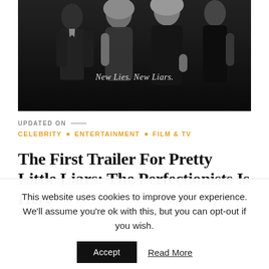[Figure (photo): Black and white promotional photo of people in dark clothing. Text overlay reads 'New Lies. New Liars.' in italic serif font.]
UPDATED ON —
CELEBRITY • ENTERTAINMENT • FILM & TV
The First Trailer For Pretty Little Liars: The Perfectionists Is Here
This website uses cookies to improve your experience. We'll assume you're ok with this, but you can opt-out if you wish.